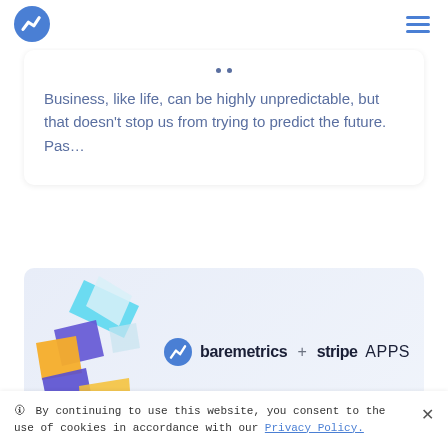Baremetrics logo and navigation menu
Business, like life, can be highly unpredictable, but that doesn't stop us from trying to predict the future. Pas…
[Figure (illustration): Baremetrics + Stripe APPS promotional banner with 3D decorative shapes (blue, cyan, purple, yellow/gold) on the left and branding text on the right]
🛈 By continuing to use this website, you consent to the use of cookies in accordance with our Privacy Policy.